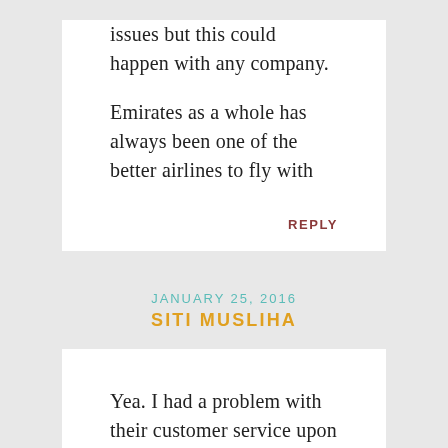issues but this could happen with any company.
Emirates as a whole has always been one of the better airlines to fly with
REPLY
JANUARY 25, 2016
SITI MUSLIHA
Yea. I had a problem with their customer service upon calling them. Their customer service have no knowledge on the procedures and inagine calling 10 different staffs telling 10 different things. Mine was name issue. Due to character limitation I was unable to key in full name but I called to clarified this issue as